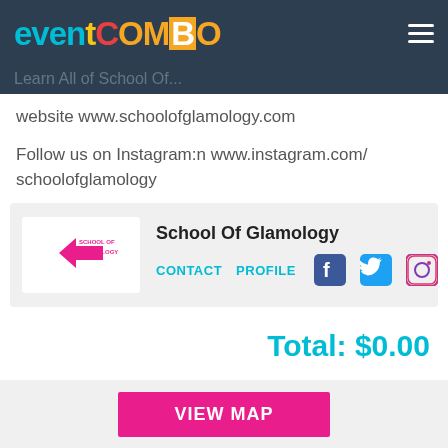eventcombo
website www.schoolofglamology.com
Follow us on Instagram:n www.instagram.com/schoolofglamology
[Figure (logo): School Of Glamology organizer card with logo, CONTACT and PROFILE links, and Facebook, Twitter, Instagram social icons]
Total: $0.00
VIEW MAP